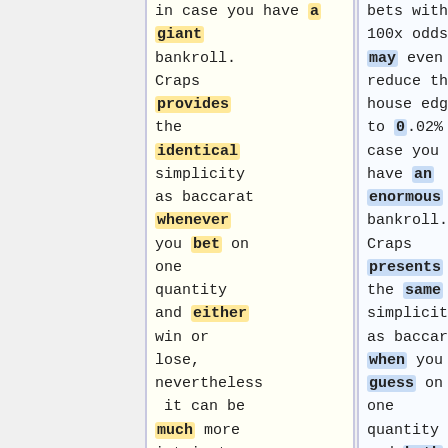in case you have a giant bankroll. Craps provides the identical simplicity as baccarat whenever you bet on one quantity and either win or lose, nevertheless it can be much more intricate should you
bets with 100x odds may even reduce the house edge to 0.02% in case you have an enormous bankroll. Craps presents the same simplicity as baccarat when you guess on one quantity and both win or [https://one